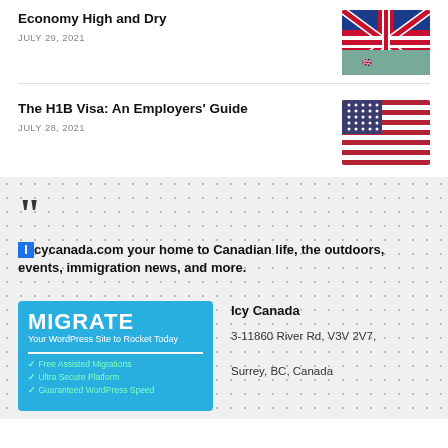Economy High and Dry
JULY 29, 2021
[Figure (photo): UK flag photo]
The H1B Visa: An Employers' Guide
JULY 28, 2021
[Figure (photo): US flag photo]
Icycanada.com your home to Canadian life, the outdoors, events, immigration news, and more.
[Figure (infographic): MIGRATE - Your WordPress Site to Rocket Today banner with Free Assisted Migrations, Ultra Secure Platform, Guaranteed WordPress Speed]
Icy Canada
3-11860 River Rd, V3V 2V7, Surrey, BC, Canada